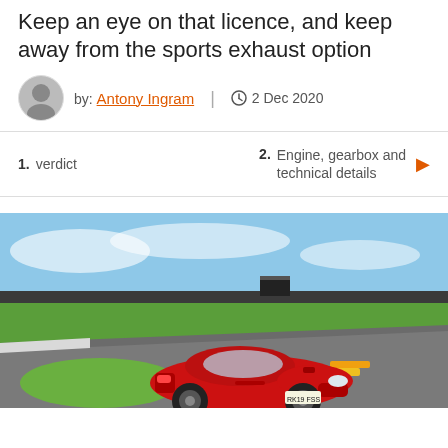Keep an eye on that licence, and keep away from the sports exhaust option
by: Antony Ingram | 2 Dec 2020
1. verdict
2. Engine, gearbox and technical details
[Figure (photo): Red Porsche 911 sports car driving on a racing circuit track, photographed from front-left angle. The car has a UK licence plate reading RK19 FSS. The track curves to the right with green grass areas and a partly cloudy blue sky in the background.]